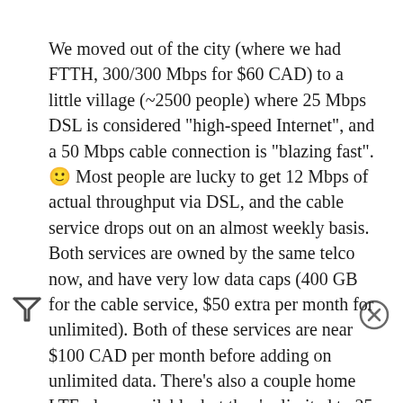We moved out of the city (where we had FTTH, 300/300 Mbps for $60 CAD) to a little village (~2500 people) where 25 Mbps DSL is considered "high-speed Internet", and a 50 Mbps cable connection is "blazing fast". 🙂 Most people are lucky to get 12 Mbps of actual throughput via DSL, and the cable service drops out on an almost weekly basis. Both services are owned by the same telco now, and have very low data caps (400 GB for the cable service, $50 extra per month for unlimited). Both of these services are near $100 CAD per month before adding on unlimited data. There's also a couple home LTE plans available, but they're limited to 25 Mbps with low data caps as well.
We've been using Starlink (round Dishy) since the middle of January. While actual throughput can fluctuate (50-200 Mbps download, 5-25 Mbps upload, 25-65 ms latency) it has not actually affected our use cases or work flows. We have 4